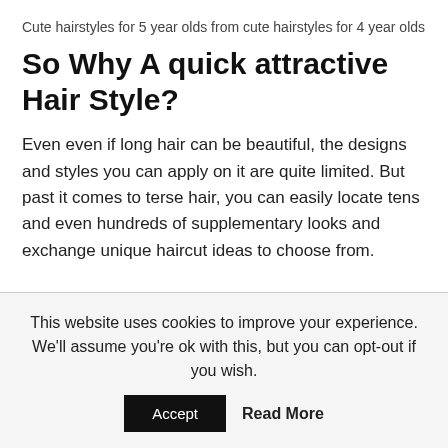Cute hairstyles for 5 year olds from cute hairstyles for 4 year olds
So Why A quick attractive Hair Style?
Even even if long hair can be beautiful, the designs and styles you can apply on it are quite limited. But past it comes to terse hair, you can easily locate tens and even hundreds of supplementary looks and exchange unique haircut ideas to choose from.
This website uses cookies to improve your experience. We'll assume you're ok with this, but you can opt-out if you wish.